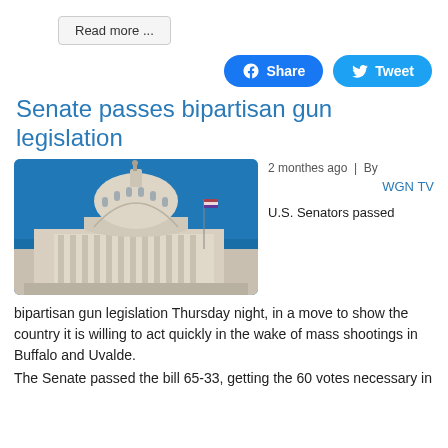Read more ...
[Figure (other): Facebook Share button and Twitter Tweet button]
Senate passes bipartisan gun legislation
[Figure (photo): Photograph of the United States Capitol building dome against a blue sky]
2 monthes ago | By WGN TV
U.S. Senators passed
bipartisan gun legislation Thursday night, in a move to show the country it is willing to act quickly in the wake of mass shootings in Buffalo and Uvalde.
The Senate passed the bill 65-33, getting the 60 votes necessary in